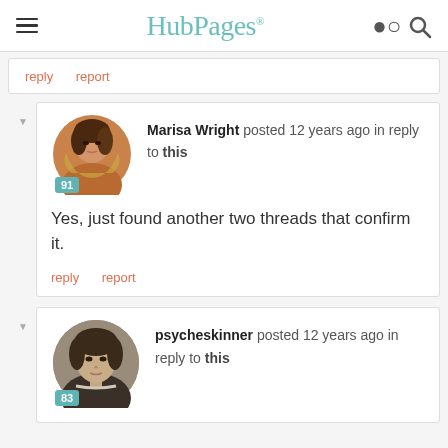HubPages
reply   report
Marisa Wright posted 12 years ago in reply to this
[Figure (photo): Circular avatar image of Marisa Wright, a woman with dark hair, with score badge 91]
Yes, just found another two threads that confirm it.
reply   report
psycheskinner posted 12 years ago in reply to this
[Figure (photo): Circular avatar image of psycheskinner, historical portrait of a young person, with score badge 83]